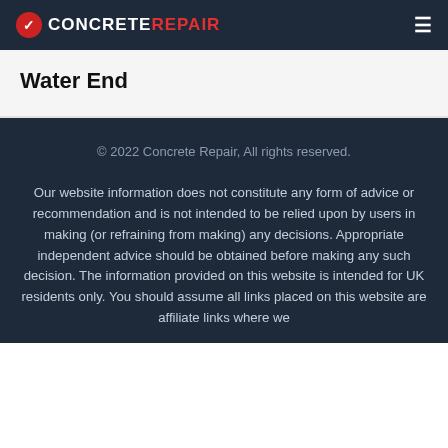CONCRETE REPAIR
Water End
© 2022 Concrete Repair, All rights reserved.
Our website information does not constitute any form of advice or recommendation and is not intended to be relied upon by users in making (or refraining from making) any decisions. Appropriate independent advice should be obtained before making any such decision. The information provided on this website is intended for UK residents only. You should assume all links placed on this website are affiliate links where we…